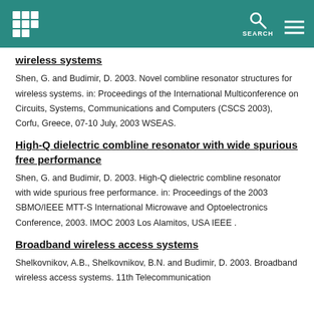SEARCH
wireless systems
Shen, G. and Budimir, D. 2003. Novel combline resonator structures for wireless systems. in: Proceedings of the International Multiconference on Circuits, Systems, Communications and Computers (CSCS 2003), Corfu, Greece, 07-10 July, 2003 WSEAS.
High-Q dielectric combline resonator with wide spurious free performance
Shen, G. and Budimir, D. 2003. High-Q dielectric combline resonator with wide spurious free performance. in: Proceedings of the 2003 SBMO/IEEE MTT-S International Microwave and Optoelectronics Conference, 2003. IMOC 2003 Los Alamitos, USA IEEE .
Broadband wireless access systems
Shelkovnikov, A.B., Shelkovnikov, B.N. and Budimir, D. 2003. Broadband wireless access systems. 11th Telecommunication